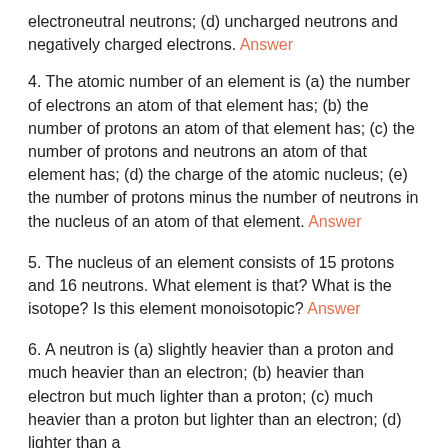electroneutral neutrons; (d) uncharged neutrons and negatively charged electrons. Answer
4. The atomic number of an element is (a) the number of electrons an atom of that element has; (b) the number of protons an atom of that element has; (c) the number of protons and neutrons an atom of that element has; (d) the charge of the atomic nucleus; (e) the number of protons minus the number of neutrons in the nucleus of an atom of that element. Answer
5. The nucleus of an element consists of 15 protons and 16 neutrons. What element is that? What is the isotope? Is this element monoisotopic? Answer
6. A neutron is (a) slightly heavier than a proton and much heavier than an electron; (b) heavier than electron but much lighter than a proton; (c) much heavier than a proton but lighter than an electron; (d) lighter than a